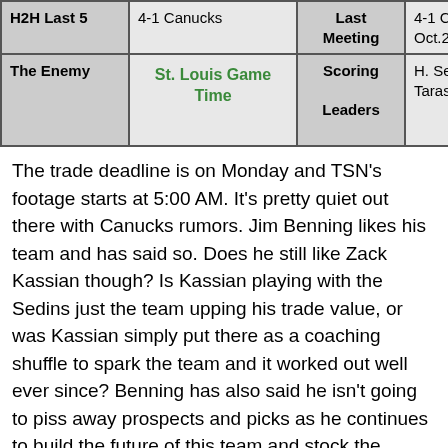| H2H Last 5 |  | Last Meeting | 4-1 Canucks Oct.23/14 |
| --- | --- | --- | --- |
| The Enemy | St. Louis Game Time | Scoring Leaders | H. Sedin: 12-44-
Tarasenko: 31-2-
60 |
The trade deadline is on Monday and TSN's footage starts at 5:00 AM. It's pretty quiet out there with Canucks rumors. Jim Benning likes his team and has said so. Does he still like Zack Kassian though? Is Kassian playing with the Sedins just the team upping his trade value, or was Kassian simply put there as a coaching shuffle to spark the team and it worked out well ever since? Benning has also said he isn't going to piss away prospects and picks as he continues to build the future of this team and stock the cupboard. This could be one of the quietest Canucks trade d-days in a long time.